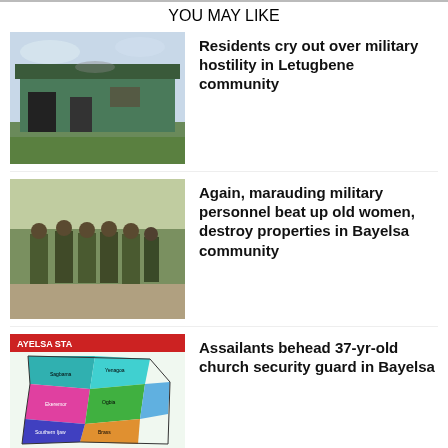YOU MAY LIKE
[Figure (photo): Photo of a building with green walls and damaged structure, possibly burned]
Residents cry out over military hostility in Letugbene community
[Figure (photo): Photo of military personnel walking in a group on a road]
Again, marauding military personnel beat up old women, destroy properties in Bayelsa community
[Figure (map): Map of Bayelsa State showing local government areas in different colors]
Assailants behead 37-yr-old church security guard in Bayelsa
[Figure (photo): Composite photo of three men including men wearing traditional attire and sunglasses]
Military invasion: IPDI tackles Cleopas, Oseke, Marlon for abandoning Igbomotoru community
[Figure (photo): Composite photo with text overlay and portrait of a man in traditional attire]
Bayelsa monarch, Naingba dies